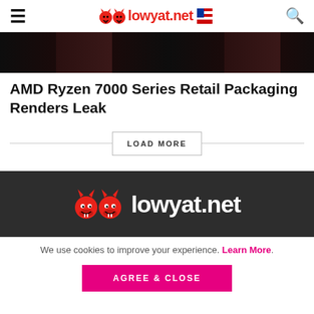lowyat.net — navigation header with hamburger menu and search icon
[Figure (photo): Dark hero image strip showing a dimly lit game or product photo background]
AMD Ryzen 7000 Series Retail Packaging Renders Leak
LOAD MORE
[Figure (logo): lowyat.net logo with devil mascot icons on dark background footer]
We use cookies to improve your experience. Learn More.
AGREE & CLOSE